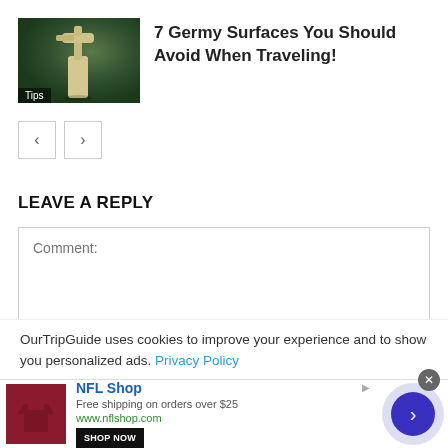[Figure (photo): Thumbnail image of a soap/sanitizer pump dispenser on a dark green background with a 'Tips' badge overlay]
7 Germy Surfaces You Should Avoid When Traveling!
[Figure (other): Navigation previous and next arrow buttons]
LEAVE A REPLY
Comment:
OurTripGuide uses cookies to improve your experience and to show you personalized ads. Privacy Policy
[Figure (other): Advertisement banner for NFL Shop showing red gear, text 'NFL Shop', 'Free shipping on orders over $25', 'www.nflshop.com', 'SHOP NOW' button, close X button, and forward arrow circle]